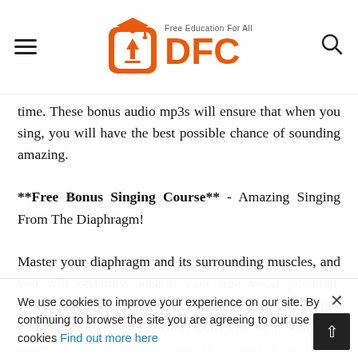DFC - Free Education For All
time. These bonus audio mp3s will ensure that when you sing, you will have the best possible chance of sounding amazing.
**Free Bonus Singing Course** - Amazing Singing From The Diaphragm!
Master your diaphragm and its surrounding muscles, and you will certainly unearth your true vocal potential. Developing a great singing voice is about more than just your vocal cords; your whole body can be a source of power. In particular, the muscles of your torso (back, abdomen, sides, chest, neck) are of great value. These muscles support the diaphragm, expanding and conditioning it. This is the knowledge that singers like Carrie Underwood, Pavorotti, Renee Fleming, Celine Dion, Samuel Okpara, and thousands of other musicians use to full
We use cookies to improve your experience on our site. By continuing to browse the site you are agreeing to our use of cookies Find out more here